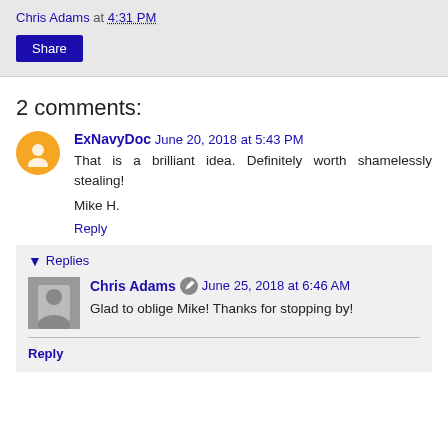Chris Adams at 4:31 PM
Share
2 comments:
ExNavyDoc  June 20, 2018 at 5:43 PM
That is a brilliant idea. Definitely worth shamelessly stealing!
Mike H.
Reply
▾ Replies
Chris Adams  June 25, 2018 at 6:46 AM
Glad to oblige Mike! Thanks for stopping by!
Reply